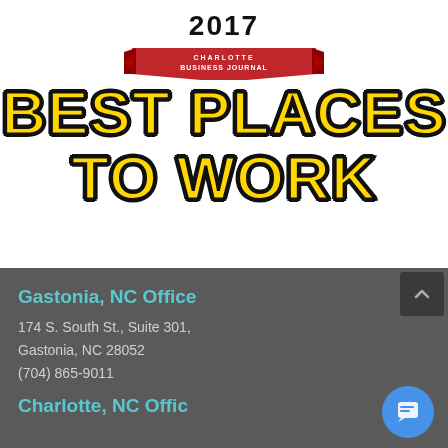[Figure (logo): 2017 Charlotte Business Journal Best Places to Work award logo with red ribbon banner and bold yellow text with black outline]
Gastonia, NC Office
174 S. South St., Suite 301,
Gastonia, NC 28052
(704) 865-9011
Charlotte, NC Offic...